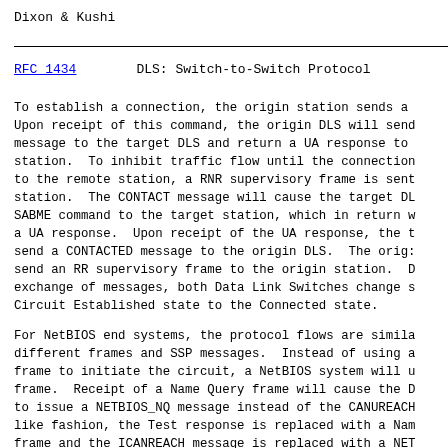Dixon & Kushi
RFC 1434                    DLS: Switch-to-Switch Protocol
To establish a connection, the origin station sends a Upon receipt of this command, the origin DLS will send message to the target DLS and return a UA response to station. To inhibit traffic flow until the connection to the remote station, a RNR supervisory frame is sent station. The CONTACT message will cause the target DL SABME command to the target station, which in return w a UA response. Upon receipt of the UA response, the send a CONTACTED message to the origin DLS. The orig send an RR supervisory frame to the origin station. exchange of messages, both Data Link Switches change Circuit Established state to the Connected state.
For NetBIOS end systems, the protocol flows are simil different frames and SSP messages. Instead of using frame to initiate the circuit, a NetBIOS system will frame. Receipt of a Name Query frame will cause the to issue a NETBIOS_NQ message instead of the CANUREAC like fashion, the Test response is replaced with a Na frame and the ICANREACH message is replaced with a NE message. As with the SNA protocol flows, the receipt message causes the origin Data Link Switch to respond